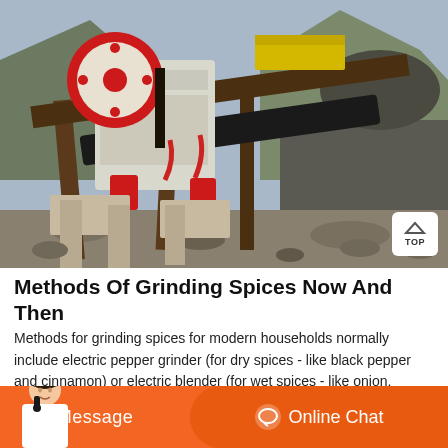[Figure (photo): Outdoor industrial jaw crusher / stone crushing machine on a quarry/construction site with mountains and rocks in background. Large red flywheel visible on the machine. A 'TOP' button is visible in bottom-right corner of image.]
Methods Of Grinding Spices Now And Then
Methods for grinding spices for modern households normally include electric pepper grinder (for dry spices - like black pepper and cinnamon) or electric blender (for wet spices - like onion, ginger and chili paste). Blagiling - the grinding stone. When I was a child, it always fascinated